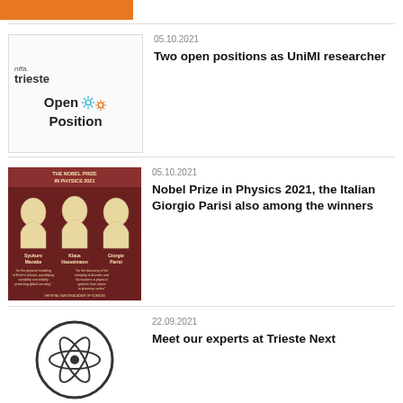[Figure (other): Orange decorative bar at top of page]
05.10.2021
Two open positions as UniMI researcher
[Figure (logo): nffa.trieste logo with Open Position text and gear icons]
05.10.2021
Nobel Prize in Physics 2021, the Italian Giorgio Parisi also among the winners
[Figure (photo): Nobel Prize in Physics 2021 announcement image showing Syukuro Manabe, Klaus Hasselmann, and Giorgio Parisi with captions]
22.09.2021
Meet our experts at Trieste Next
[Figure (illustration): Circular icon with researcher/science illustration]